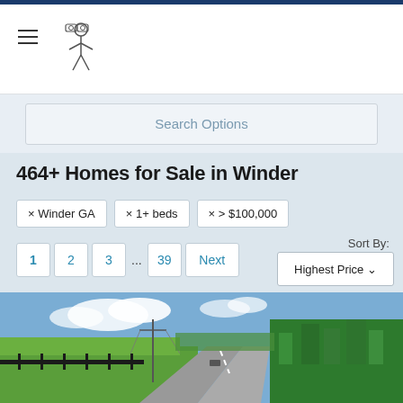Navigation header with hamburger menu and logo
Search Options
464+ Homes for Sale in Winder
× Winder GA
× 1+ beds
× > $100,000
1 2 3 ... 39 Next
Sort By: Highest Price
[Figure (photo): Aerial view of a rural road in Winder GA, with green fields on the left, trees on the right, and a car visible on the road under a partly cloudy sky]